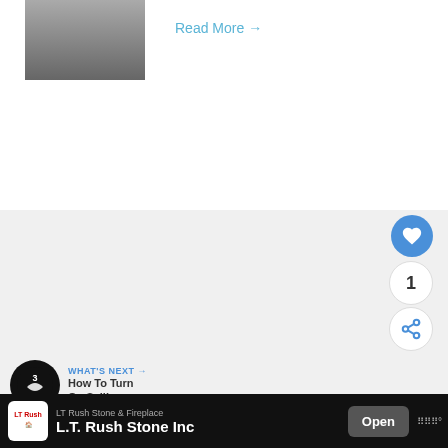[Figure (photo): Thumbnail image of a stone or fireplace product, dark/grey tones]
Read More →
← Previous Post
Next Post →
[Figure (other): Heart/like button icon (blue circle with white heart)]
1
[Figure (other): Share button icon (white circle with share symbol)]
[Figure (other): What's Next widget with logo showing text: WHAT'S NEXT → How To Turn On Selling...]
Related:
LT Rush Stone & Fireplace
L.T. Rush Stone Inc
Open